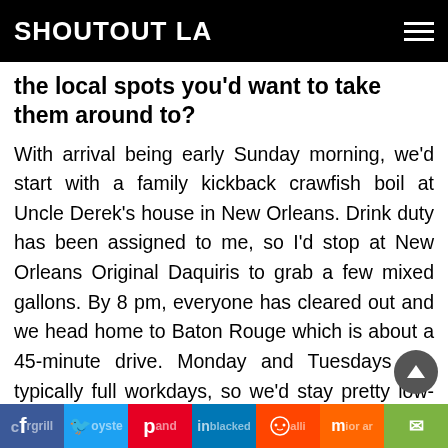SHOUTOUT LA
the local spots you'd want to take them around to?
With arrival being early Sunday morning, we'd start with a family kickback crawfish boil at Uncle Derek's house in New Orleans. Drink duty has been assigned to me, so I'd stop at New Orleans Original Daquiris to grab a few mixed gallons. By 8 pm, everyone has cleared out and we head home to Baton Rouge which is about a 45-minute drive. Monday and Tuesdays are typically full workdays, so we'd stay pretty low-key around the house. Wednesday is a good day to have dinner at Chimes on Coursey. Their chargrilled oysters and blackened alligator are